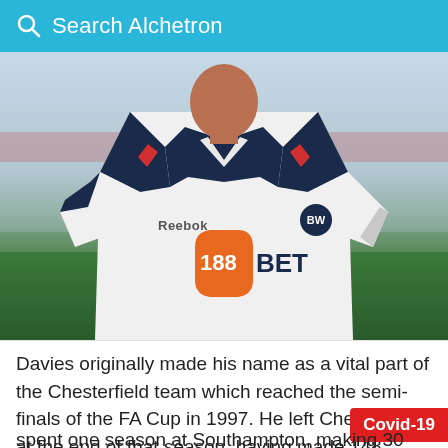Search Alchetron
[Figure (photo): A footballer wearing a white Bolton Wanderers Reebok jersey with 188BET sponsor, standing in front of a blurred stadium background with green pitch.]
Davies originally made his name as a vital part of the Chesterfield team which reached the semi-finals of the FA Cup in 1997. He left Chesterfield at the end of that season, having made 148 appearances for the club and joined Premier League club Southampton in May 1997.
spent one season at Southampton, making 30